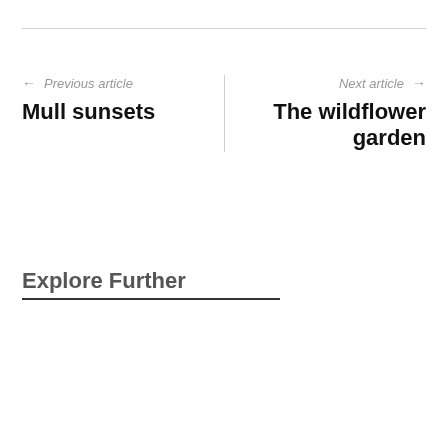← Previous article
Mull sunsets
Next article →
The wildflower garden
Explore Further